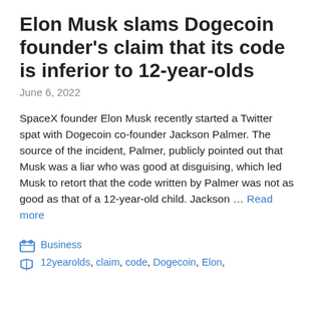Elon Musk slams Dogecoin founder's claim that its code is inferior to 12-year-olds
June 6, 2022
SpaceX founder Elon Musk recently started a Twitter spat with Dogecoin co-founder Jackson Palmer. The source of the incident, Palmer, publicly pointed out that Musk was a liar who was good at disguising, which led Musk to retort that the code written by Palmer was not as good as that of a 12-year-old child. Jackson … Read more
Business
12yearolds, claim, code, Dogecoin, Elon,